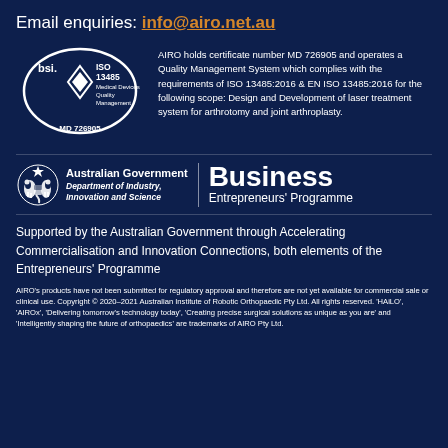Email enquiries: info@airo.net.au
[Figure (logo): BSI ISO 13485 Medical Devices Quality Management logo with MD 726905 certification number]
AIRO holds certificate number MD 726905 and operates a Quality Management System which complies with the requirements of ISO 13485:2016 & EN ISO 13485:2016 for the following scope: Design and Development of laser treatment system for arthrotomy and joint arthroplasty.
[Figure (logo): Australian Government Department of Industry, Innovation and Science crest and Business Entrepreneurs' Programme logo]
Supported by the Australian Government through Accelerating Commercialisation and Innovation Connections, both elements of the Entrepreneurs' Programme
AIRO's products have not been submitted for regulatory approval and therefore are not yet available for commercial sale or clinical use. Copyright © 2020–2021 Australian Institute of Robotic Orthopaedic Pty Ltd. All rights reserved. 'HAiLO', 'AIROx', 'Delivering tomorrow's technology today', 'Creating precise surgical solutions as unique as you are' and 'Intelligently shaping the future of orthopaedics' are trademarks of AIRO Pty Ltd.